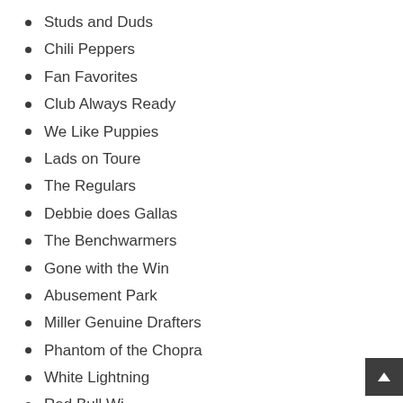Studs and Duds
Chili Peppers
Fan Favorites
Club Always Ready
We Like Puppies
Lads on Toure
The Regulars
Debbie does Gallas
The Benchwarmers
Gone with the Win
Abusement Park
Miller Genuine Drafters
Phantom of the Chopra
White Lightning
Red Bull Wi…